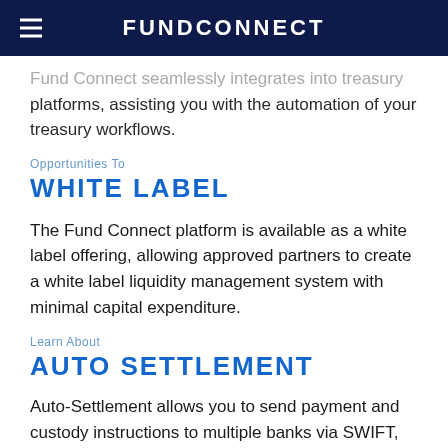FundConnect
Fund Connect seamlessly integrates into treasury platforms, assisting you with the automation of your treasury workflows.
Opportunities To
WHITE LABEL
The Fund Connect platform is available as a white label offering, allowing approved partners to create a white label liquidity management system with minimal capital expenditure.
Learn About
AUTO SETTLEMENT
Auto-Settlement allows you to send payment and custody instructions to multiple banks via SWIFT, replacing manual processes which rely on fax, phone or single bank payment platforms.